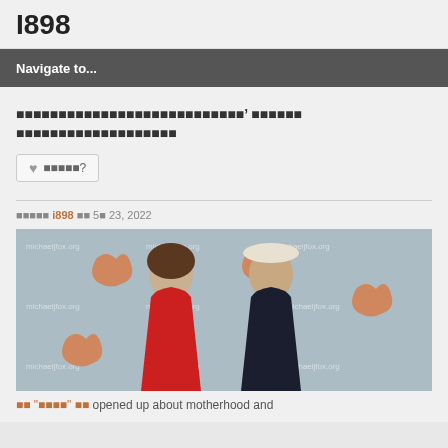I898
Navigate to...
■■■■■■■■■■■■■■■■■■■■■■■■■■■’ ■■■■■■ ■■■■■■■■■■■■■■■■■■■
■■■■■?
■■■■■ i898 ■■ 5■ 23, 2022
[Figure (photo): A man in a dark blazer and white cowboy hat standing next to a woman in a red halter dress, at a michaeljfox.org charity event backdrop]
■■ "■■■■" ■■ opened up about motherhood and